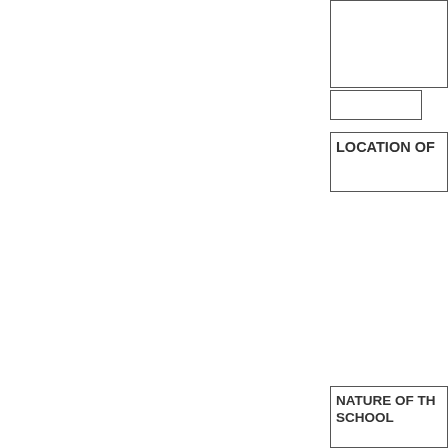|  |  |  |
|  |  |
LOCATION OF
| Nearest Railway Station | - |  |
| --- | --- | --- |
| Nearest Police Station | - |  |
| Nearest Nationalised Bank | - |  |
NATURE OF THE SCHOOL
| Category of School | Co-edu |
| --- | --- |
| Medium of Instruction | Eng |